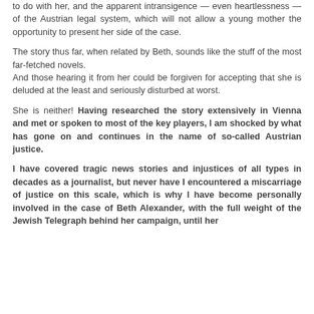to do with her, and the apparent intransigence — even heartlessness — of the Austrian legal system, which will not allow a young mother the opportunity to present her side of the case.
The story thus far, when related by Beth, sounds like the stuff of the most far-fetched novels.
And those hearing it from her could be forgiven for accepting that she is deluded at the least and seriously disturbed at worst.
She is neither! Having researched the story extensively in Vienna and met or spoken to most of the key players, I am shocked by what has gone on and continues in the name of so-called Austrian justice.
I have covered tragic news stories and injustices of all types in decades as a journalist, but never have I encountered a miscarriage of justice on this scale, which is why I have become personally involved in the case of Beth Alexander, with the full weight of the Jewish Telegraph behind her campaign, until her